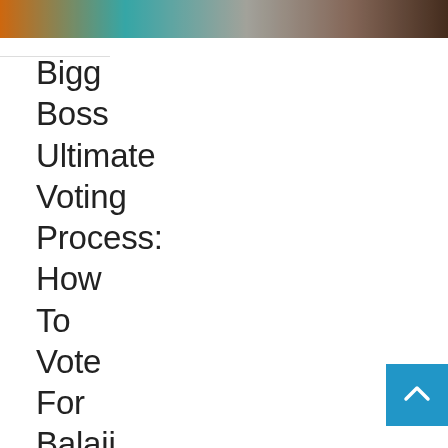[Figure (photo): Cropped photo showing people, partial view with orange, teal, and brown tones at the top of the page]
Bigg Boss Ultimate Voting Process: How To Vote For Balaji Murugadoss, Julie And Other Nominated